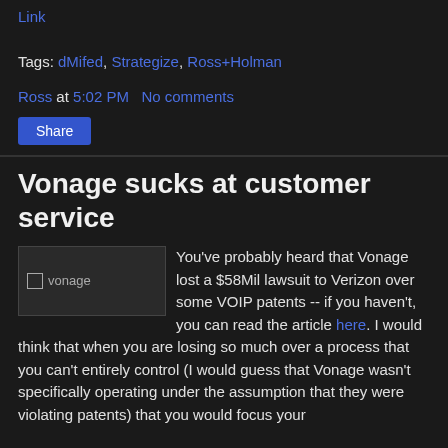Link
Tags: dMifed, Strategize, Ross+Holman
Ross at 5:02 PM   No comments
Share
Vonage sucks at customer service
You've probably heard that Vonage lost a $58Mil lawsuit to Verizon over some VOIP patents -- if you haven't, you can read the article here. I would think that when you are losing so much over a process that you can't entirely control (I would guess that Vonage wasn't specifically operating under the assumption that they were violating patents) that you would focus your
[Figure (photo): vonage image placeholder]